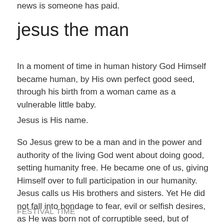news is someone has paid.
jesus the man
In a moment of time in human history God Himself became human, by His own perfect good seed, through his birth from a woman came as a vulnerable little baby.
Jesus is His name.
So Jesus grew to be a man and in the power and authority of the living God went about doing good, setting humanity free. He became one of us, giving Himself over to full participation in our humanity. Jesus calls us His brothers and sisters. Yet He did not fall into bondage to fear, evil or selfish desires, as He was born not of corruptible seed, but of incorruptible seed, the Spirit of God.
FESTIVAL TIME